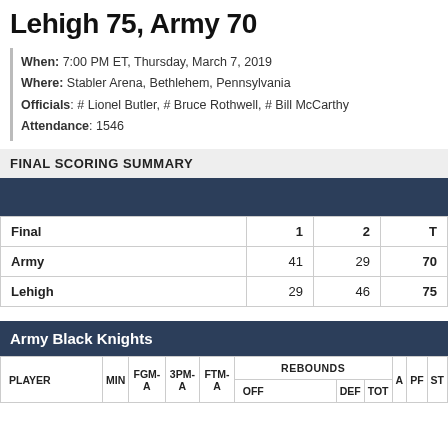Lehigh 75, Army 70
When: 7:00 PM ET, Thursday, March 7, 2019
Where: Stabler Arena, Bethlehem, Pennsylvania
Officials: # Lionel Butler, # Bruce Rothwell, # Bill McCarthy
Attendance: 1546
FINAL SCORING SUMMARY
| Final | 1 | 2 | T |
| --- | --- | --- | --- |
| Army | 41 | 29 | 70 |
| Lehigh | 29 | 46 | 75 |
Army Black Knights
| PLAYER | MIN | FGM-A | 3PM-A | FTM-A | OFF | DEF | TOT | A | PF | ST |
| --- | --- | --- | --- | --- | --- | --- | --- | --- | --- | --- |